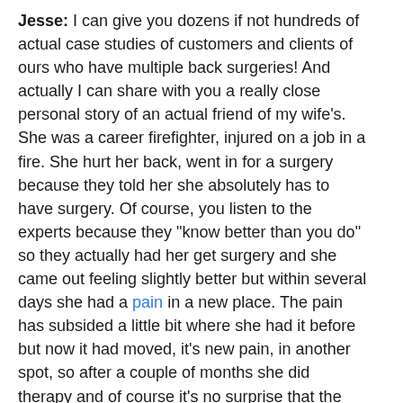Jesse: I can give you dozens if not hundreds of actual case studies of customers and clients of ours who have multiple back surgeries! And actually I can share with you a really close personal story of an actual friend of my wife's. She was a career firefighter, injured on a job in a fire. She hurt her back, went in for a surgery because they told her she absolutely has to have surgery. Of course, you listen to the experts because they "know better than you do" so they actually had her get surgery and she came out feeling slightly better but within several days she had a pain in a new place. The pain has subsided a little bit where she had it before but now it had moved, it's new pain, in another spot, so after a couple of months she did therapy and of course it's no surprise that the therapy they did didn't work because their therapy is all about treating the symptoms.
Kevin: Right!